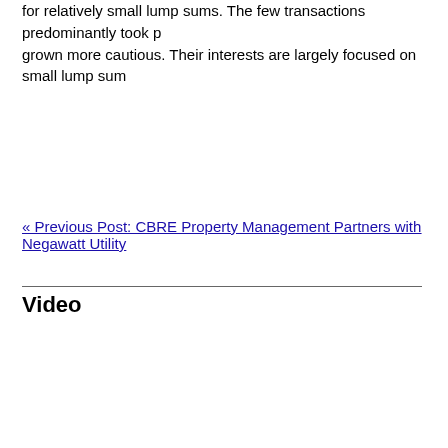for relatively small lump sums. The few transactions predominantly took p... grown more cautious. Their interests are largely focused on small lump sum...
« Previous Post: CBRE Property Management Partners with Negawatt Utility
Video